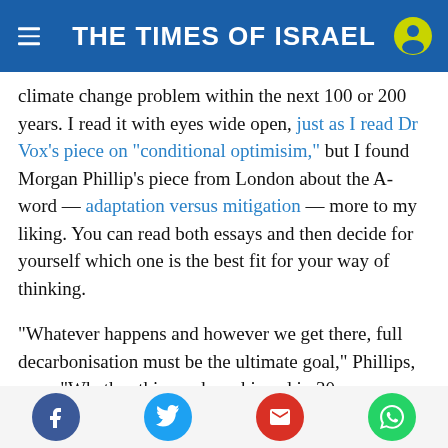THE TIMES OF ISRAEL
climate change problem within the next 100 or 200 years. I read it with eyes wide open, just as I read Dr Vox's piece on “conditional optimisim,” but I found Morgan Phillip’s piece from London about the A-word — adaptation versus mitigation — more to my liking. You can read both essays and then decide for yourself which one is the best fit for your way of thinking.
“Whatever happens and however we get there, full decarbonisation must be the ultimate goal,” Phillips, says. “Whether this can be achieved in 30 years or 130 years, it will eventually lead us to a time (anything between 100 and 1,000 years in the
Social sharing icons: Facebook, Twitter, Email, WhatsApp